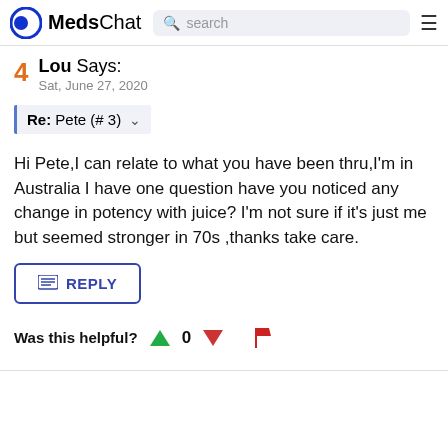MedsChat | search
4  Lou Says:
Sat, June 27, 2020
Re: Pete (# 3)
Hi Pete,I can relate to what you have been thru,I'm in Australia I have one question have you noticed any change in potency with juice? I'm not sure if it's just me but seemed stronger in 70s ,thanks take care.
REPLY
Was this helpful?  0